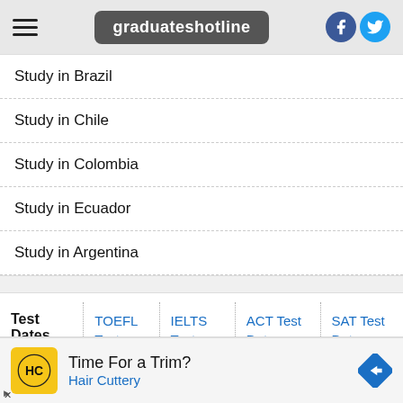graduateshotline
Study in Brazil
Study in Chile
Study in Colombia
Study in Ecuador
Study in Argentina
| Test Dates - 2022 | TOEFL Test Dates - 2022 | IELTS Test Dates - 2022 | ACT Test Dates | SAT Test Dates |
| --- | --- | --- | --- | --- |
[Figure (infographic): Advertisement banner for Hair Cuttery with logo, text 'Time For a Trim?' and 'Hair Cuttery', and a blue direction arrow icon]